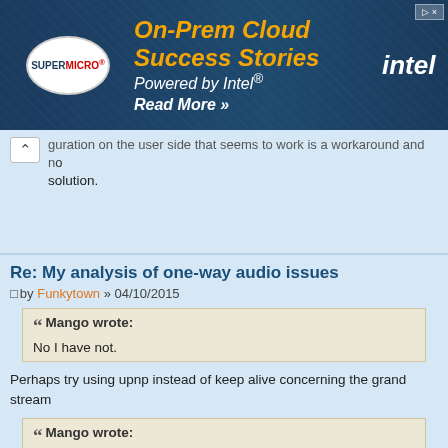[Figure (screenshot): Advertisement banner: Supermicro logo on left, text 'On-Prem Cloud Success Stories Powered by Intel® Read More >>' in orange/white on dark blue background, Intel logo on right]
problem is caused by a configuration issue with CPE equipment. Any configuration on the user side that seems to work is a workaround and not a solution.
Re: My analysis of one-way audio issues
by Funkytown » 04/10/2015
Mango wrote:
No I have not.
Perhaps try using upnp instead of keep alive concerning the grand stream
Mango wrote:
When UPNP is used, does the router allow incoming traffic only from the provider or does it allow it from any source?